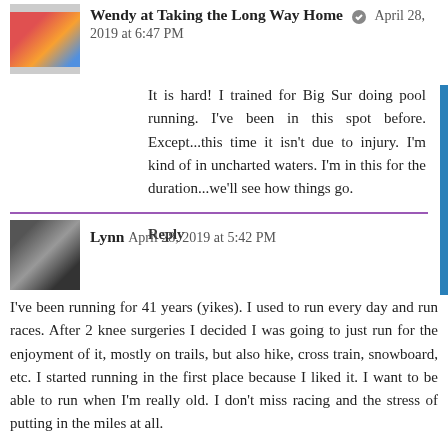Wendy at Taking the Long Way Home  April 28, 2019 at 6:47 PM
It is hard! I trained for Big Sur doing pool running. I've been in this spot before. Except...this time it isn't due to injury. I'm kind of in uncharted waters. I'm in this for the duration...we'll see how things go.
Reply
Lynn  April 28, 2019 at 5:42 PM
I've been running for 41 years (yikes). I used to run every day and run races. After 2 knee surgeries I decided I was going to just run for the enjoyment of it, mostly on trails, but also hike, cross train, snowboard, etc. I started running in the first place because I liked it. I want to be able to run when I'm really old. I don't miss racing and the stress of putting in the miles at all.
Reply
▾ Replies